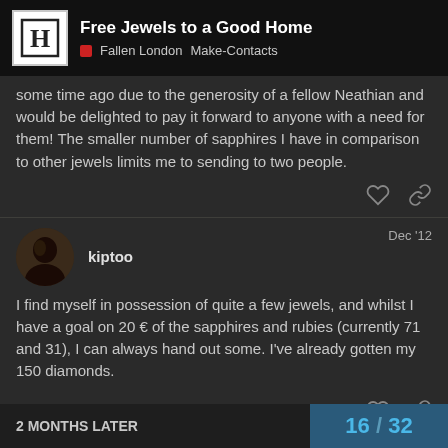Free Jewels to a Good Home — Fallen London Make-Contacts
some time ago due to the generosity of a fellow Neathian and would be delighted to pay it forward to anyone with a need for them! The smaller number of sapphires I have in comparison to other jewels limits me to sending to two people.
kiptoo Dec '12
I find myself in possession of quite a few jewels, and whilst I have a goal on 20 € of the sapphires and rubies (currently 71 and 31), I can always hand out some. I've already gotten my 150 diamonds.
2 MONTHS LATER    16 / 32